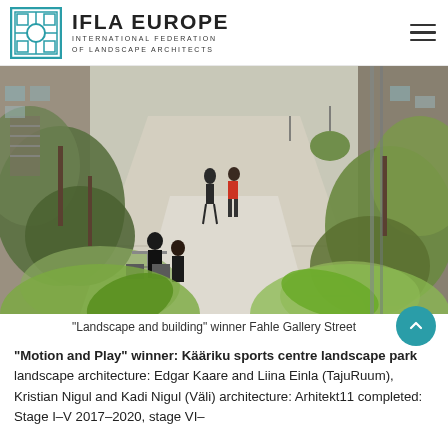IFLA EUROPE — INTERNATIONAL FEDERATION OF LANDSCAPE ARCHITECTS
[Figure (photo): Aerial view of Fahle Gallery Street, a narrow urban passage between old stone buildings lined with lush green plants, trees, and outdoor seating areas. People are walking along a paved path.]
"Landscape and building" winner Fahle Gallery Street
"Motion and Play" winner: Kääriku sports centre landscape park landscape architecture: Edgar Kaare and Liina Einla (TajuRuum), Kristian Nigul and Kadi Nigul (Väli) architecture: Arhitekt11 completed: Stage I–V 2017–2020, stage VI–